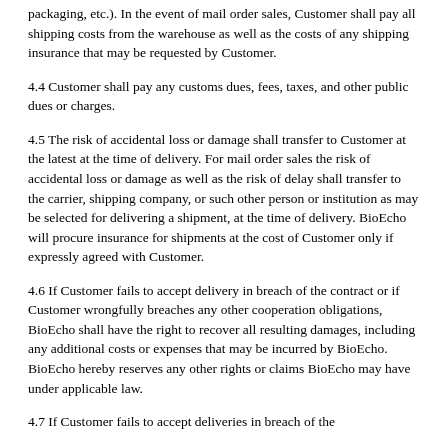packaging, etc.). In the event of mail order sales, Customer shall pay all shipping costs from the warehouse as well as the costs of any shipping insurance that may be requested by Customer.
4.4 Customer shall pay any customs dues, fees, taxes, and other public dues or charges.
4.5 The risk of accidental loss or damage shall transfer to Customer at the latest at the time of delivery. For mail order sales the risk of accidental loss or damage as well as the risk of delay shall transfer to the carrier, shipping company, or such other person or institution as may be selected for delivering a shipment, at the time of delivery. BioEcho will procure insurance for shipments at the cost of Customer only if expressly agreed with Customer.
4.6 If Customer fails to accept delivery in breach of the contract or if Customer wrongfully breaches any other cooperation obligations, BioEcho shall have the right to recover all resulting damages, including any additional costs or expenses that may be incurred by BioEcho. BioEcho hereby reserves any other rights or claims BioEcho may have under applicable law.
4.7 If Customer fails to accept deliveries in breach of the